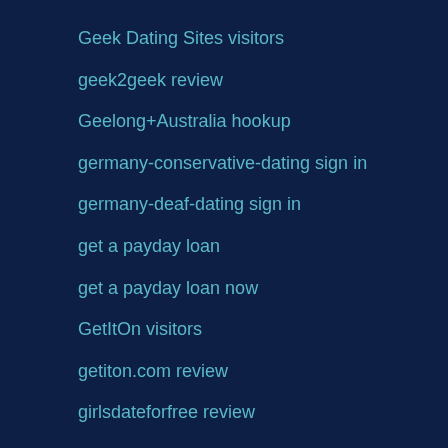Geek Dating Sites visitors
geek2geek review
Geelong+Australia hookup
germany-conservative-dating sign in
germany-deaf-dating sign in
get a payday loan
get a payday loan now
GetItOn visitors
getiton.com review
girlsdateforfree review